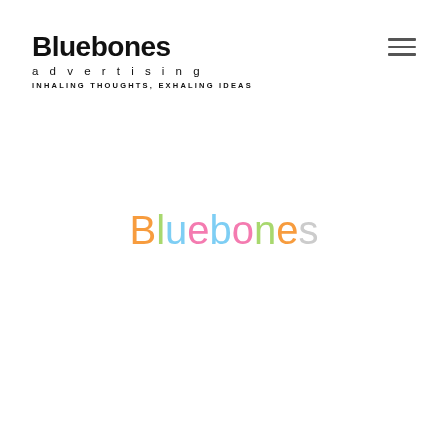[Figure (logo): Bluebones advertising logo with tagline 'INHALING THOUGHTS, EXHALING IDEAS']
[Figure (logo): Hamburger menu icon (three horizontal lines) in top right corner]
Bluebones